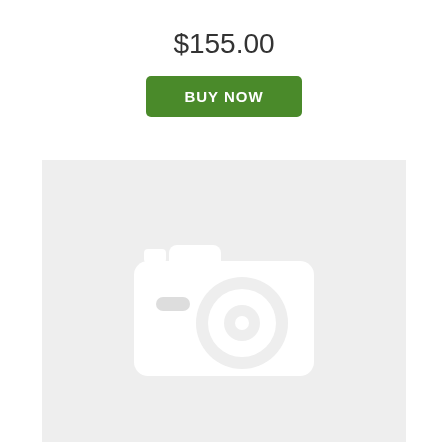$155.00
BUY NOW
[Figure (illustration): Placeholder image with a light gray background and a white camera icon silhouette in the center]